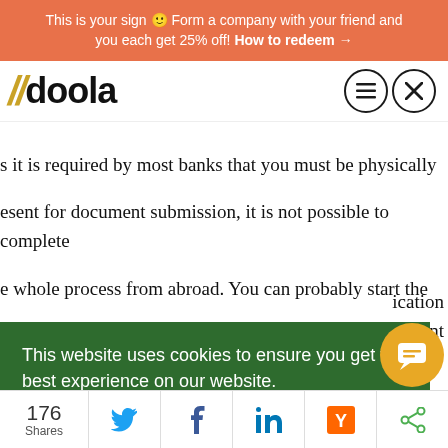This is your sign 🙂 Form a company with your friend and you each get 25% off! How to redeem →
[Figure (logo): doola logo with two yellow italic slashes followed by bold text 'doola', and two circular icons (menu and close) on the right]
s it is required by most banks that you must be physically present for document submission, it is not possible to complete the whole process from abroad. You can probably start the ...ication ...elevant ...tant ban ...om ...e ...nk
This website uses cookies to ensure you get the best experience on our website. Learn more
Got it!
176 Shares